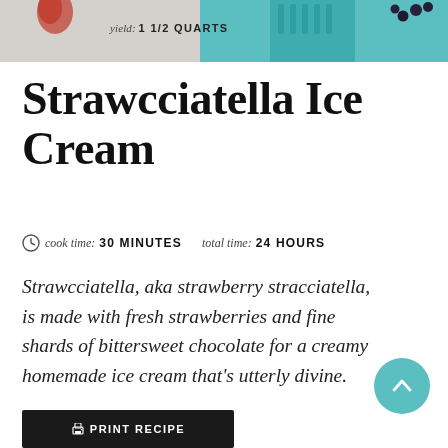[Figure (photo): Top banner photo showing a teal colander/utensil with berries on a light background]
yield: 1 1/2 QUARTS
Strawcciatella Ice Cream
cook time: 30 MINUTES   total time: 24 HOURS
Strawcciatella, aka strawberry stracciatella, is made with fresh strawberries and fine shards of bittersweet chocolate for a creamy homemade ice cream that's utterly divine.
PRINT RECIPE